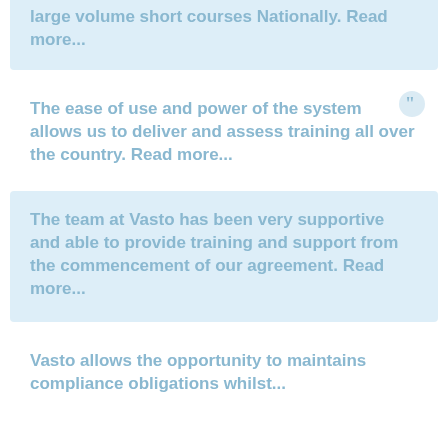large volume short courses Nationally. Read more...
The ease of use and power of the system allows us to deliver and assess training all over the country. Read more...
The team at Vasto has been very supportive and able to provide training and support from the commencement of our agreement. Read more...
Vasto allows the opportunity to maintains compliance obligations whilst...